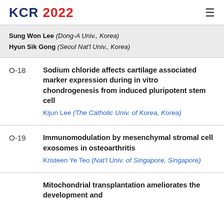KCR 2022
Sung Won Lee (Dong-A Univ., Korea)
Hyun Sik Gong (Seoul Nat'l Univ., Korea)
O-18 Sodium chloride affects cartilage associated marker expression during in vitro chondrogenesis from induced pluripotent stem cell
Kijun Lee (The Catholic Univ. of Korea, Korea)
O-19 Immunomodulation by mesenchymal stromal cell exosomes in osteoarthritis
Kristeen Ye Teo (Nat'l Univ. of Singapore, Singapore)
Mitochondrial transplantation ameliorates the development and